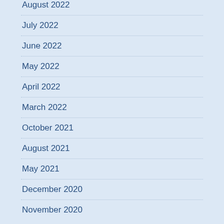August 2022
July 2022
June 2022
May 2022
April 2022
March 2022
October 2021
August 2021
May 2021
December 2020
November 2020